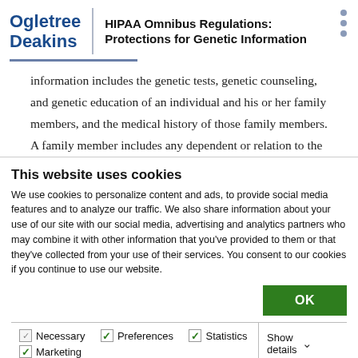Ogletree Deakins | HIPAA Omnibus Regulations: Protections for Genetic Information
information includes the genetic tests, genetic counseling, and genetic education of an individual and his or her family members, and the medical history of those family members. A family member includes any dependent or relation to the
This website uses cookies
We use cookies to personalize content and ads, to provide social media features and to analyze our traffic. We also share information about your use of our site with our social media, advertising and analytics partners who may combine it with other information that you've provided to them or that they've collected from your use of their services. You consent to our cookies if you continue to use our website.
OK
| Necessary | Preferences | Statistics | Show details |
| Marketing |  |  |  |